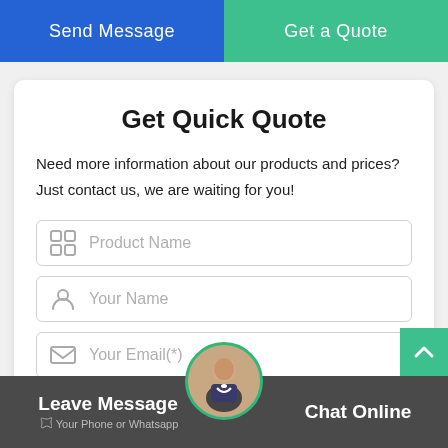Send Message | Get a Quote
Get Quick Quote
Need more information about our products and prices?Just contact us, we are waiting for you!
Product Name (form field)
Your Name (form field)
Your Email(*) (form field)
Leave Message | Chat Online | Your Phone or Whatsapp